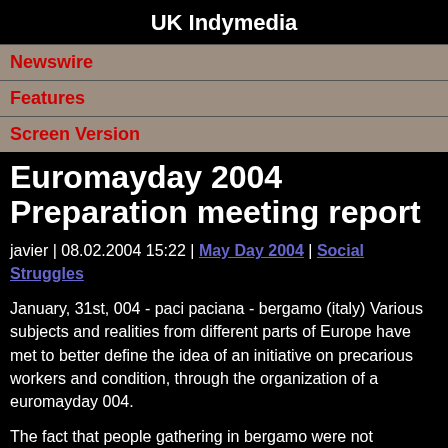UK Indymedia
Newswire
Features
Screen Version
Euromayday 2004 Preparation meeting report
javier | 08.02.2004 15:22 | May Day 2004 | Social Struggles
January, 31st, 004 - paci paciana - bergamo (italy) Various subjects and realities from different parts of Europe have met to better define the idea of an initiative on precarious workers and condition, through the organization of a euromayday 004.
The fact that people gathering in bergamo were not representative of their local structure and processes, led us to...